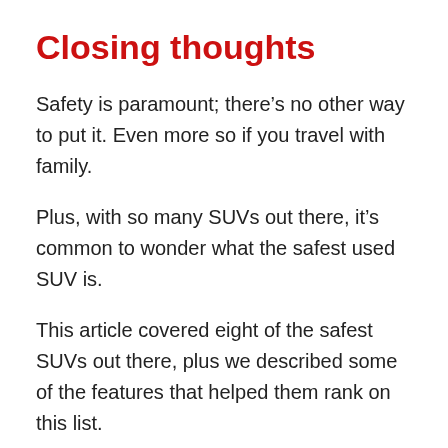Closing thoughts
Safety is paramount; there’s no other way to put it. Even more so if you travel with family.
Plus, with so many SUVs out there, it’s common to wonder what the safest used SUV is.
This article covered eight of the safest SUVs out there, plus we described some of the features that helped them rank on this list.
You will notice that most of these come with